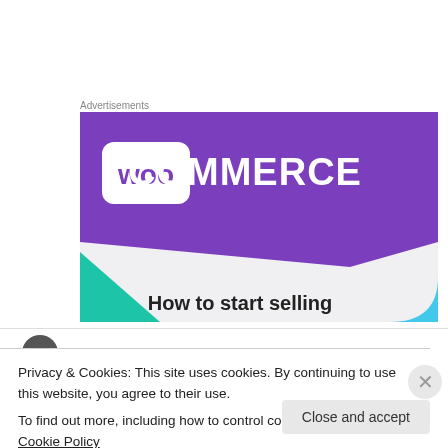Advertisements
[Figure (screenshot): WooCommerce advertisement banner showing the WooCommerce logo on a purple background with teal and light blue geometric shapes, and the text 'How to start selling' at the bottom]
Paul Holser on November 14, 2007 at 7:19 pm
Privacy & Cookies: This site uses cookies. By continuing to use this website, you agree to their use.
To find out more, including how to control cookies, see here: Cookie Policy